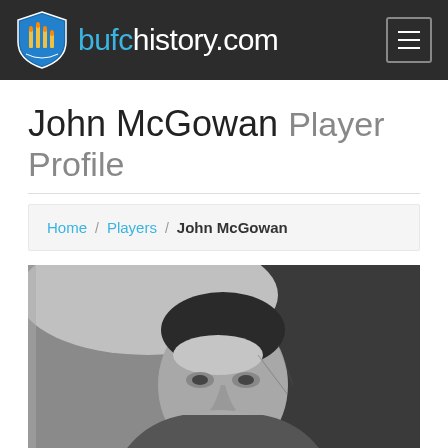bufchistory.com
John McGowan Player Profile
Home / Players / John McGowan
[Figure (photo): Black and white photograph of John McGowan, showing his face and upper body, vintage football player portrait]